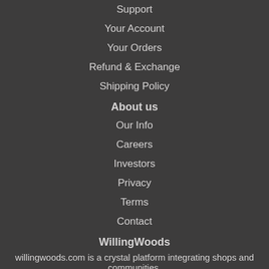Support
Your Account
Your Orders
Refund & Exchange
Shipping Policy
About us
Our Info
Careers
Investors
Privacy
Terms
Contact
WillingWoods
willingwoods.com is a crystal platform integrating shops and communities.
We provide a variety of crystal, gem products and crystal knowledge